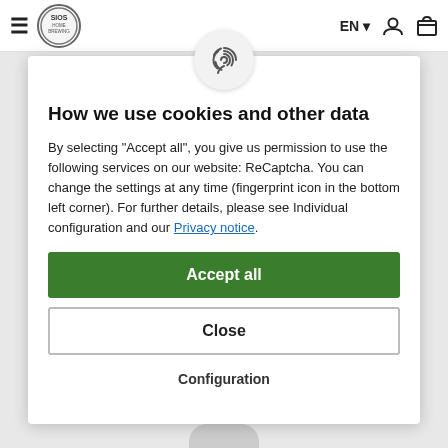[Figure (screenshot): Website navigation bar with hamburger menu, SIOS Home Brewing logo, EN language selector with dropdown arrow, user account icon, and shopping cart icon]
[Figure (other): Fingerprint icon in a circular badge, positioned above the cookie consent modal dialog]
How we use cookies and other data
By selecting "Accept all", you give us permission to use the following services on our website: ReCaptcha. You can change the settings at any time (fingerprint icon in the bottom left corner). For further details, please see Individual configuration and our Privacy notice.
Accept all
Close
Configuration